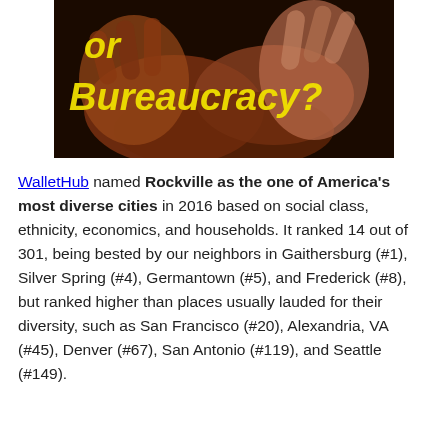[Figure (photo): Black background image showing clasped/intertwined hands with yellow italic text reading 'or Bureaucracy?' overlaid on top.]
WalletHub named Rockville as the one of America's most diverse cities in 2016 based on social class, ethnicity, economics, and households. It ranked 14 out of 301, being bested by our neighbors in Gaithersburg (#1), Silver Spring (#4), Germantown (#5), and Frederick (#8), but ranked higher than places usually lauded for their diversity, such as San Francisco (#20), Alexandria, VA (#45), Denver (#67), San Antonio (#119), and Seattle (#149).